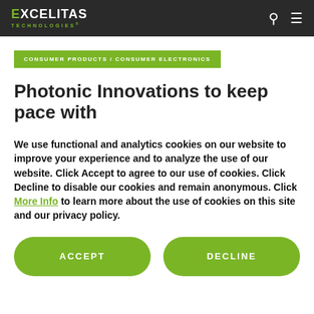EXCELITAS TECHNOLOGIES
CONSUMER PRODUCTS / CONSUMER ELECTRONICS
Photonic Innovations to keep pace with consumer electronics markets
We use functional and analytics cookies on our website to improve your experience and to analyze the use of our website. Click Accept to agree to our use of cookies. Click Decline to disable our cookies and remain anonymous. Click More Info to learn more about the use of cookies on this site and our privacy policy.
ACCEPT
DECLINE